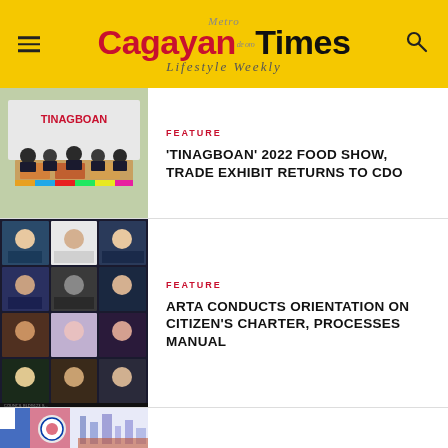Metro Cagayan de Oro Times – Lifestyle Weekly
[Figure (photo): Group of people standing behind a table with Tinagboan signage]
FEATURE
'TINAGBOAN' 2022 FOOD SHOW, TRADE EXHIBIT RETURNS TO CDO
[Figure (screenshot): Online video conference with multiple participants in grid view]
FEATURE
ARTA CONDUCTS ORIENTATION ON CITIZEN'S CHARTER, PROCESSES MANUAL
[Figure (photo): Partial view of a presentation or event with Philippine flag and logos]